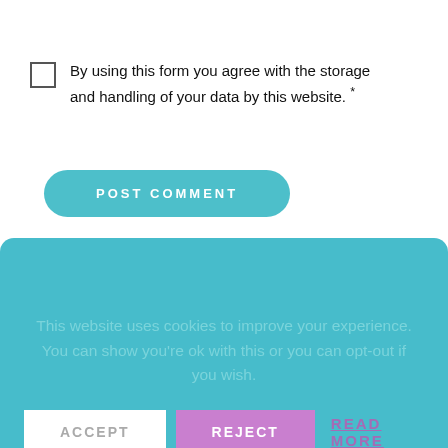By using this form you agree with the storage and handling of your data by this website. *
POST COMMENT
This website uses cookies to improve your experience. You can show you're ok with this or you can opt-out if you wish. ACCEPT REJECT READ MORE
[Figure (photo): Headshot of a smiling blonde woman outdoors with greenery in background]